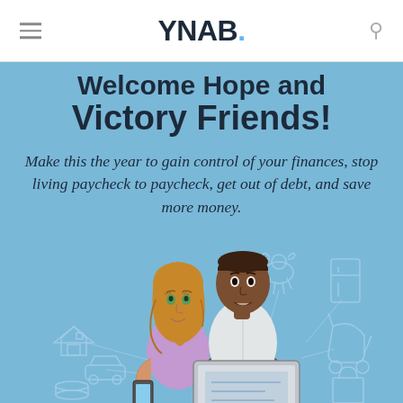YNAB.
Welcome Hope and Victory Friends!
Make this the year to gain control of your finances, stop living paycheck to paycheck, get out of debt, and save more money.
[Figure (illustration): Illustration of a young woman with blonde hair holding a smartphone and a young man holding a laptop, surrounded by small icons of a house, car, pet, baby stroller, shopping bag, and other life expense categories on a blue background.]